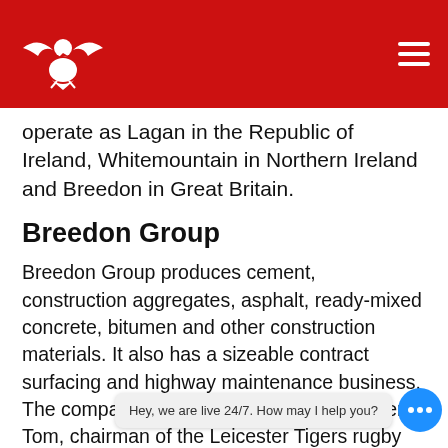Breedon Group website header with eagle logo and hamburger menu
operate as Lagan in the Republic of Ireland, Whitemountain in Northern Ireland and Breedon in Great Britain.
Breedon Group
Breedon Group produces cement, construction aggregates, asphalt, ready-mixed concrete, bitumen and other construction materials. It also has a sizeable contract surfacing and highway maintenance business. The company was founded in 2008 by Peter Tom, chairman of the Leicester Tigers rugby club, and Simon Vivian.
Ethiebeaton Quarry | Dundee